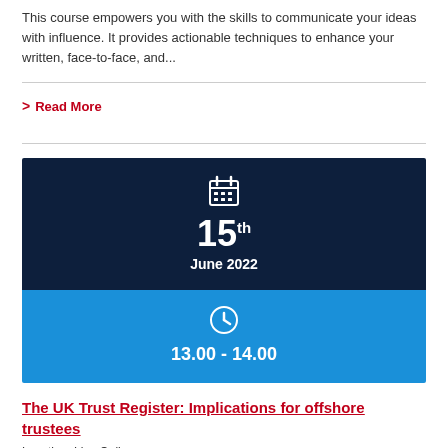This course empowers you with the skills to communicate your ideas with influence. It provides actionable techniques to enhance your written, face-to-face, and...
> Read More
[Figure (infographic): Event date and time card. Dark navy background showing calendar icon, date '15th June 2022', blue background showing clock icon and time '13.00 - 14.00']
The UK Trust Register: Implications for offshore trustees
Location: Live Online